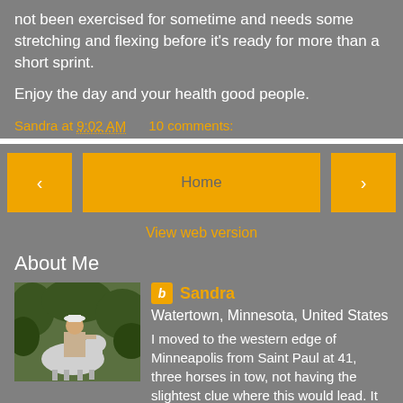not been exercised for sometime and needs some stretching and flexing before it's ready for more than a short sprint.
Enjoy the day and your health good people.
Sandra at 9:02 AM     10 comments:
[Figure (other): Navigation bar with back arrow button, Home button, and forward arrow button, plus View web version link]
About Me
[Figure (photo): Profile photo of Sandra on horseback in a wooded area]
Sandra
Watertown, Minnesota, United States
I moved to the western edge of Minneapolis from Saint Paul at 41, three horses in tow, not having the slightest clue where this would lead. It led to breeding and showing many fine